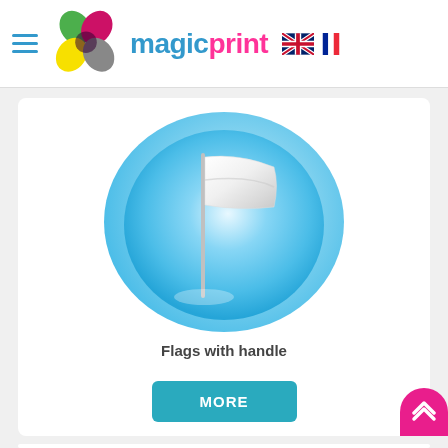[Figure (logo): MagicPrint logo with colorful flower/petals icon and brand name 'magicprint' in cyan and pink, with UK and French flag icons, and a hamburger menu icon on the left]
[Figure (illustration): A white flag on a pole centered in a light blue circular background, representing a product called 'Flags with handle']
Flags with handle
MORE